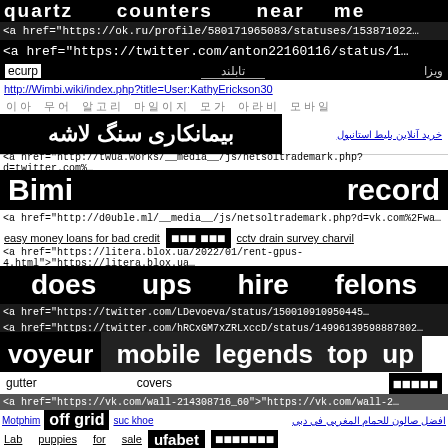quartz counters near me
<a href="https://ok.ru/profile/580171965083/statuses/153871022...
<a href="https://twitter.com/anton22160116/status/1...
ecurp  ویزا  تابلند
http://Wimbi.wiki/index.php?title=User:KathyErickson30
Korean characters row
بیمانکاری سنگ لاشه  خرید آنلاین بلیط استانبول
<a href="http://twua.works/__media__/js/netsoltrademark.php?d=twitter.com%...
Bimi record
<a href="http://d0uble.ml/__media__/js/netsoltrademark.php?d=vk.com%2Fwa...
easy money loans for bad credit  [squares]  cctv drain survey charvil
<a href="https://litera.blox.ua/2022/01/rent-gpus-4.html">"https://litera.blox.ua...
does ups hire felons
<a href="https://twitter.com/LDevoeva/status/150010910950445...
<a href="https://twitter.com/hRCxGM7xZRLxccD/status/14996139598887802...
voyeur  mobile legends top up
gutter covers  [squares]
<a href="https://vk.com/wall-214308716_60">"https://vk.com/wall-2...
Motphim  off grid  suc khoe  افضل صالون للحمام المغربي في دبي
Lab puppies for sale  ufabet  [squares]
Kode Id Pro  red rose love  Fivem hosting